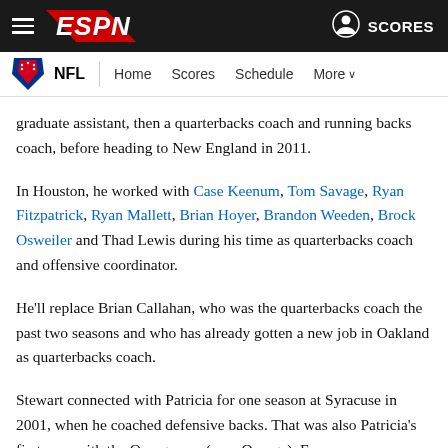[Figure (screenshot): ESPN navigation bar with hamburger menu, ESPN logo, user icon and SCORES link]
[Figure (screenshot): NFL sub-navigation bar with NFL shield logo, NFL label, Home, Scores, Schedule, More links]
graduate assistant, then a quarterbacks coach and running backs coach, before heading to New England in 2011.
In Houston, he worked with Case Keenum, Tom Savage, Ryan Fitzpatrick, Ryan Mallett, Brian Hoyer, Brandon Weeden, Brock Osweiler and Thad Lewis during his time as quarterbacks coach and offensive coordinator.
He'll replace Brian Callahan, who was the quarterbacks coach the past two seasons and who has already gotten a new job in Oakland as quarterbacks coach.
Stewart connected with Patricia for one season at Syracuse in 2001, when he coached defensive backs. That was also Patricia's first year with the Orangemen (now Orange). From